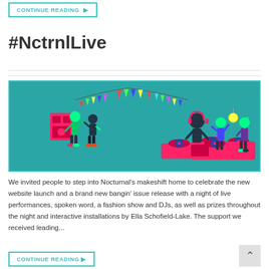CONTINUE READING ▶
#NctrnlLive
[Figure (illustration): Teal-background party scene illustration with four figures: people dancing and a DJ at turntables, with colorful bunting flags above]
We invited people to step into Nocturnal's makeshift home to celebrate the new website launch and a brand new bangin' issue release with a night of live performances, spoken word, a fashion show and DJs, as well as prizes throughout the night and interactive installations by Ella Schofield-Lake. The support we received leading...
CONTINUE READING ▶